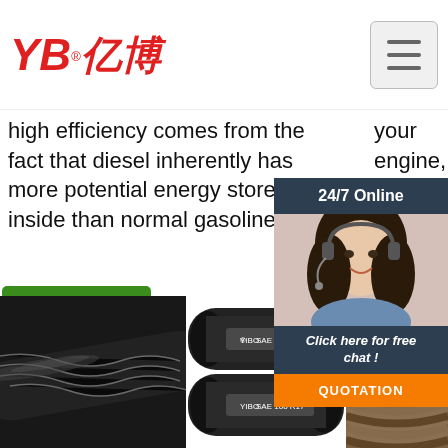[Figure (logo): YB亿博 logo in red italic text with registered trademark symbol]
[Figure (other): Hamburger menu button (three horizontal lines) in a grey square]
high efficiency comes from the fact that diesel inherently has more potential energy stored inside than normal gasoline.
your engine, self-learning strategy provides win of budget price features
[Figure (other): 24/7 Online chat widget with customer service representative photo, 'Click here for free chat!' text and orange QUOTATION button]
Get Price
[Figure (photo): Close-up of black braided hydraulic hose on dark background]
[Figure (photo): Two black hydraulic hoses labeled YIBO SAE 100 R17]
[Figure (photo): Tan/gold braided hydraulic hose with TOP badge in orange]